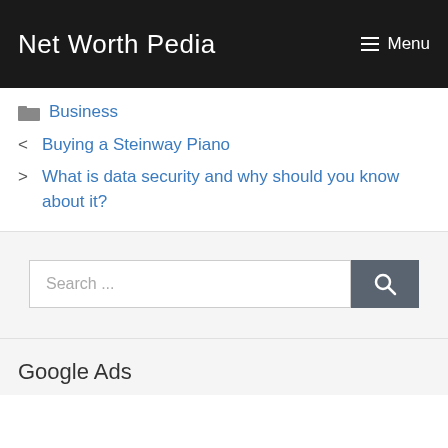Net Worth Pedia  ☰ Menu
📁 Business
< Buying a Steinway Piano
> What is data security and why should you know about it?
Search ...
Google Ads